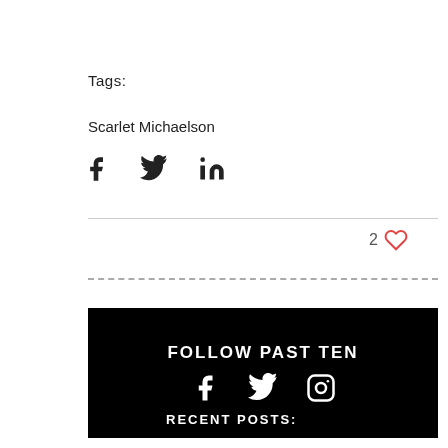Tags:
Scarlet Michaelson
[Figure (other): Social share icons: Facebook, Twitter, LinkedIn]
2 ♥
[Figure (other): Dashed horizontal divider line]
[Figure (other): Follow Past Ten banner with Facebook, Twitter, Instagram icons on black background]
RECENT POSTS: